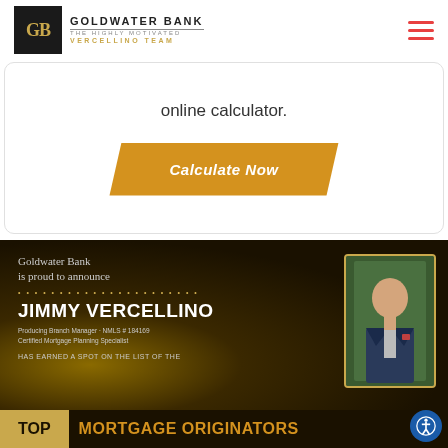[Figure (logo): Goldwater Bank logo with GB monogram in black box and text 'THE HIGHLY MOTIVATED VERCELLINO TEAM']
online calculator.
[Figure (other): Orange parallelogram button labeled 'Calculate Now' in italic bold white text]
[Figure (infographic): Dark banner announcing Jimmy Vercellino, Producing Branch Manager NMLS #184169, Certified Mortgage Planning Specialist, has earned a spot on the list of the Top Mortgage Originators. Includes photo of man in suit.]